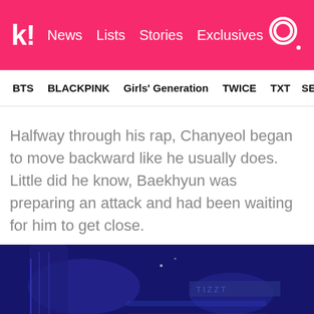k! News Lists Stories Exclusives
BTS BLACKPINK Girls' Generation TWICE TXT SEVE...
Halfway through his rap, Chanyeol began to move backward like he usually does. Little did he know, Baekhyun was preparing an attack and had been waiting for him to get close.
[Figure (photo): Dark blue concert stage scene with lighting effects and stage equipment visible]